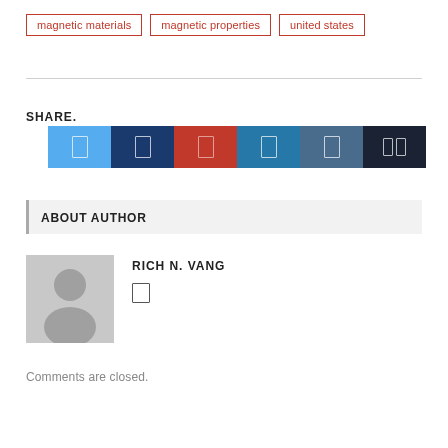magnetic materials
magnetic properties
united states
SHARE.
[Figure (infographic): Six social media share buttons in a row: Twitter (light blue), Facebook (dark blue), Pinterest (red), LinkedIn (medium blue), Tumblr (steel blue), More (near black).]
ABOUT AUTHOR
[Figure (photo): Gray placeholder avatar silhouette image for author Rich N. Vang]
RICH N. VANG
Comments are closed.